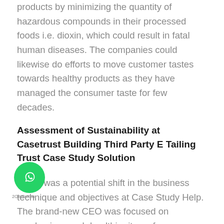products by minimizing the quantity of hazardous compounds in their processed foods i.e. dioxin, which could result in fatal human diseases. The companies could likewise do efforts to move customer tastes towards healthy products as they have managed the consumer taste for few decades.
Assessment of Sustainability at Casetrust Building Third Party E Tailing Trust Case Study Solution
There was a potential shift in the business technique and objectives at Case Study Help. The brand-new CEO was focused on purchasing much healthier items for accomplishing sustainable development for the business together with providing much healthier future for individuals and the world both. Under the brand-new vision, the